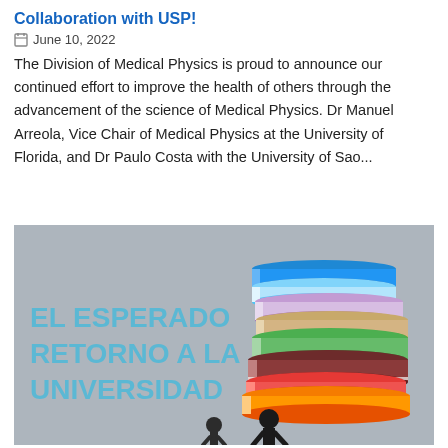Collaboration with USP!
June 10, 2022
The Division of Medical Physics is proud to announce our continued effort to improve the health of others through the advancement of the science of Medical Physics. Dr Manuel Arreola, Vice Chair of Medical Physics at the University of Florida, and Dr Paulo Costa with the University of Sao...
[Figure (illustration): Illustration with grey background showing a stack of colorful books (blue, purple/pink, tan/grey, green, dark red/maroon, orange on top) on the right side, with small silhouettes of two people at the bottom. Text on the left reads 'EL ESPERADO RETORNO A LA UNIVERSIDAD' in bold blue letters.]